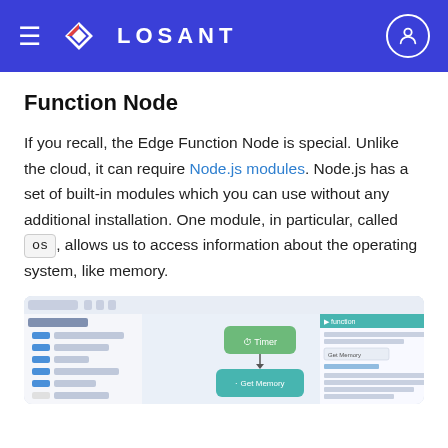LOSANT
Function Node
If you recall, the Edge Function Node is special. Unlike the cloud, it can require Node.js modules. Node.js has a set of built-in modules which you can use without any additional installation. One module, in particular, called os, allows us to access information about the operating system, like memory.
[Figure (screenshot): Screenshot of the Losant workflow editor showing an Edge workflow with a Timer node connected to a Get Memory node, and a Function Node configuration panel on the right side.]